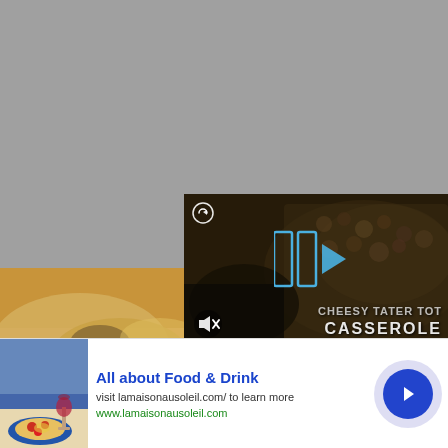[Figure (screenshot): Gray background placeholder image taking upper portion of page]
[Figure (photo): Close-up photo of a cheesy casserole or baked dish with melted cheese, bottom left]
[Figure (photo): Food photo on yellow plate, bottom right]
[Figure (screenshot): Video overlay showing 'Cheesy Tater Tot Casserole' with play button, reload icon, and mute icon on dark semi-transparent background]
[Figure (photo): Advertisement banner with food and drink photo (wine glass, pasta dish on blue plate)]
All about Food & Drink
visit lamaisonausoleil.com/ to learn more
www.lamaisonausoleil.com